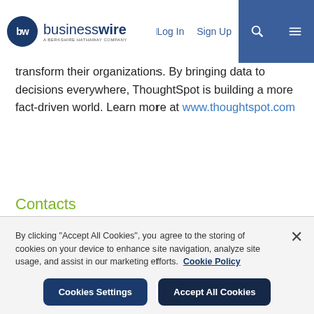businesswire — A Berkshire Hathaway Company | Log In | Sign Up
transform their organizations. By bringing data to decisions everywhere, ThoughtSpot is building a more fact-driven world. Learn more at www.thoughtspot.com
Contacts
Media Inquiries
Ryan Mattison
press@thoughtspot.com
By clicking "Accept All Cookies", you agree to the storing of cookies on your device to enhance site navigation, analyze site usage, and assist in our marketing efforts. Cookie Policy
Cookies Settings | Accept All Cookies